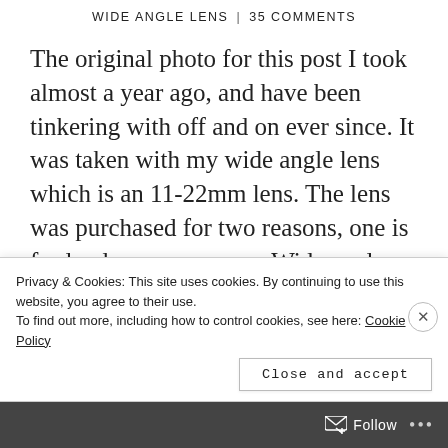WIDE ANGLE LENS | 35 COMMENTS
The original photo for this post I took almost a year ago, and have been tinkering with off and on ever since. It was taken with my wide angle lens which is an 11-22mm lens. The lens was purchased for two reasons, one is for landscape purposes. Wide angle lenses can deliver sweeping landscape shots. The other reason was for shots like this one below. The lens made it
Privacy & Cookies: This site uses cookies. By continuing to use this website, you agree to their use. To find out more, including how to control cookies, see here: Cookie Policy
Close and accept
Follow